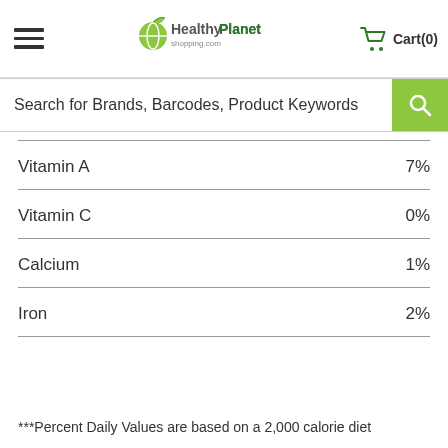HealthyPlanet shopping.com — Cart(0)
Search for Brands, Barcodes, Product Keywords
| Nutrient | % Daily Value |
| --- | --- |
| Vitamin A | 7% |
| Vitamin C | 0% |
| Calcium | 1% |
| Iron | 2% |
***Percent Daily Values are based on a 2,000 calorie diet